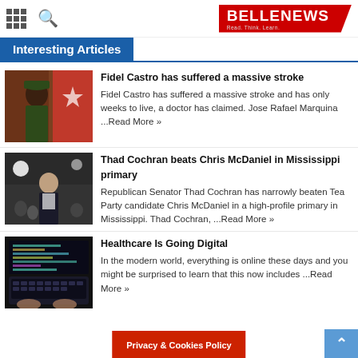BELLENEWS - Read. Think. Learn.
Interesting Articles
[Figure (photo): Photo of Fidel Castro in military uniform with a flag in the background]
Fidel Castro has suffered a massive stroke
Fidel Castro has suffered a massive stroke and has only weeks to live, a doctor has claimed. Jose Rafael Marquina ...Read More »
[Figure (photo): Photo of Thad Cochran at a crowded event, smiling, wearing a suit]
Thad Cochran beats Chris McDaniel in Mississippi primary
Republican Senator Thad Cochran has narrowly beaten Tea Party candidate Chris McDaniel in a high-profile primary in Mississippi. Thad Cochran, ...Read More »
[Figure (photo): Photo of a laptop keyboard with code or text on screen in dark setting]
Healthcare Is Going Digital
In the modern world, everything is online these days and you might be surprised to learn that this now includes ...Read More »
Privacy & Cookies Policy